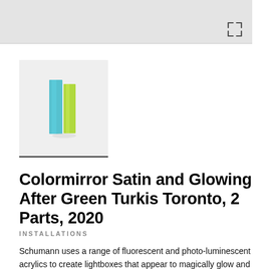[Figure (illustration): Grey top image bar (partial/cropped) with expand icon arrows in the upper right corner]
[Figure (logo): Small thumbnail image showing a 3D book or acrylic artwork with blue and green/yellow translucent panels on a light grey background, with a dark underline below]
Colormirror Satin and Glowing After Green Turkis Toronto, 2 Parts, 2020
INSTALLATIONS
Schumann uses a range of fluorescent and photo-luminescent acrylics to create lightboxes that appear to magically glow and float, which is usually the first impression a viewer has while gazing at her work. Central to Schumann's artistic practice is the investigation of the relationship between color, light and form. She uses natural daylight as well as the artificial light of the night to produce changes in the object and the viewer's experience. The installations significantly alter the functional realities of the space, as the lustrous colour schemes generate an intoxicating, chromatic aura.